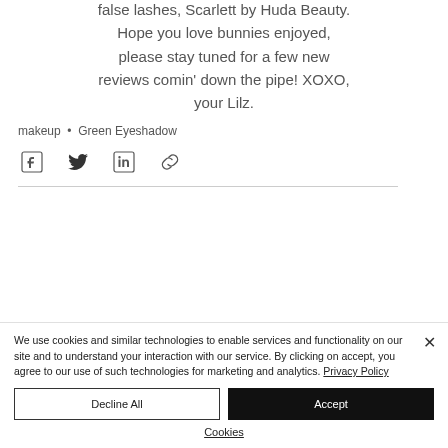false lashes, Scarlett by Huda Beauty. Hope you love bunnies enjoyed, please stay tuned for a few new reviews comin' down the pipe! XOXO, your Lilz.
makeup • Green Eyeshadow
[Figure (infographic): Social share icons: Facebook, Twitter, LinkedIn, and a link/chain icon]
We use cookies and similar technologies to enable services and functionality on our site and to understand your interaction with our service. By clicking on accept, you agree to our use of such technologies for marketing and analytics. Privacy Policy
Decline All
Accept
Cookies